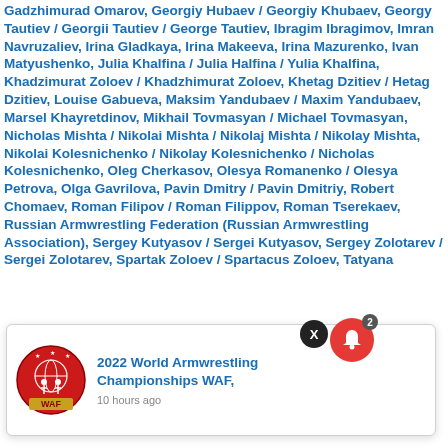Gadzhimurad Omarov, Georgiy Hubaev / Georgiy Khubaev, Georgy Tautiev / Georgii Tautiev / George Tautiev, Ibragim Ibragimov, Imran Navruzaliev, Irina Gladkaya, Irina Makeeva, Irina Mazurenko, Ivan Matyushenko, Julia Khalfina / Julia Halfina / Yulia Khalfina, Khadzimurat Zoloev / Khadzhimurat Zoloev, Khetag Dzitiev / Hetag Dzitiev, Louise Gabueva, Maksim Yandubaev / Maxim Yandubaev, Marsel Khayretdinov, Mikhail Tovmasyan / Michael Tovmasyan, Nicholas Mishta / Nikolai Mishta / Nikolaj Mishta / Nikolay Mishta, Nikolai Kolesnichenko / Nikolay Kolesnichenko / Nicholas Kolesnichenko, Oleg Cherkasov, Olesya Romanenko / Olesya Petrova, Olga Gavrilova, Pavin Dmitry / Pavin Dmitriy, Robert Chomaev, Roman Filipov / Roman Filippov, Roman Tserekaev, Russian Armwrestling Federation (Russian Armwrestling Association), Sergey Kutyasov / Sergei Kutyasov, Sergey Zolotarev / Sergei Zolotarev, Spartak Zoloev / Spartacus Zoloev, Tatyana
[Figure (logo): WAF (World Armwrestling Federation) logo — circular emblem with globe and athlete figures]
2022 World Armwrestling Championships WAF,
10 hours ago